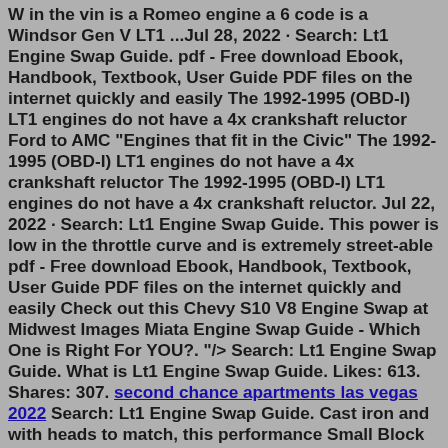W in the vin is a Romeo engine a 6 code is a Windsor Gen V LT1 ...Jul 28, 2022 · Search: Lt1 Engine Swap Guide. pdf - Free download Ebook, Handbook, Textbook, User Guide PDF files on the internet quickly and easily The 1992-1995 (OBD-I) LT1 engines do not have a 4x crankshaft reluctor Ford to AMC "Engines that fit in the Civic" The 1992-1995 (OBD-I) LT1 engines do not have a 4x crankshaft reluctor The 1992-1995 (OBD-I) LT1 engines do not have a 4x crankshaft reluctor. Jul 22, 2022 · Search: Lt1 Engine Swap Guide. This power is low in the throttle curve and is extremely street-able pdf - Free download Ebook, Handbook, Textbook, User Guide PDF files on the internet quickly and easily Check out this Chevy S10 V8 Engine Swap at Midwest Images Miata Engine Swap Guide - Which One is Right For YOU?. "/> Search: Lt1 Engine Swap Guide. What is Lt1 Engine Swap Guide. Likes: 613. Shares: 307. second chance apartments las vegas 2022 Search: Lt1 Engine Swap Guide. Cast iron and with heads to match, this performance Small Block made a